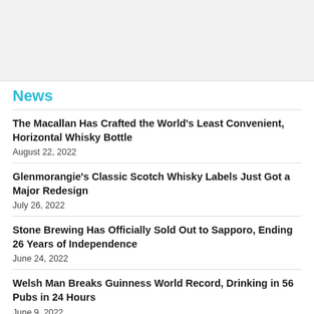[Figure (other): Gray banner/advertisement area at top of page]
News
The Macallan Has Crafted the World's Least Convenient, Horizontal Whisky Bottle
August 22, 2022
Glenmorangie's Classic Scotch Whisky Labels Just Got a Major Redesign
July 26, 2022
Stone Brewing Has Officially Sold Out to Sapporo, Ending 26 Years of Independence
June 24, 2022
Welsh Man Breaks Guinness World Record, Drinking in 56 Pubs in 24 Hours
June 9, 2022